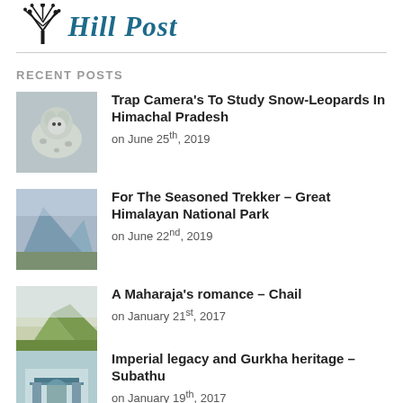[Figure (logo): Hill Post newspaper logo with tree graphic and gothic-style text]
RECENT POSTS
Trap Camera's To Study Snow-Leopards In Himachal Pradesh
on June 25th, 2019
For The Seasoned Trekker – Great Himalayan National Park
on June 22nd, 2019
A Maharaja's romance – Chail
on January 21st, 2017
Imperial legacy and Gurkha heritage – Subathu
on January 19th, 2017